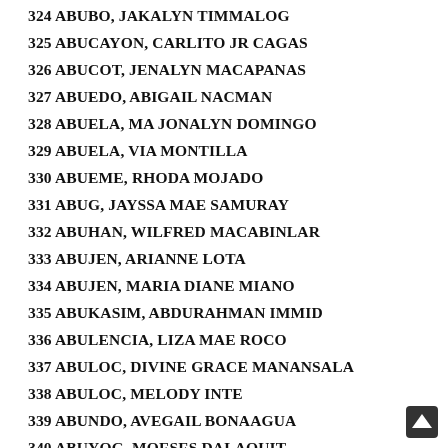324 ABUBO, JAKALYN TIMMALOG
325 ABUCAYON, CARLITO JR CAGAS
326 ABUCOT, JENALYN MACAPANAS
327 ABUEDO, ABIGAIL NACMAN
328 ABUELA, MA JONALYN DOMINGO
329 ABUELA, VIA MONTILLA
330 ABUEME, RHODA MOJADO
331 ABUG, JAYSSA MAE SAMURAY
332 ABUHAN, WILFRED MACABINLAR
333 ABUJEN, ARIANNE LOTA
334 ABUJEN, MARIA DIANE MIANO
335 ABUKASIM, ABDURAHMAN IMMID
336 ABULENCIA, LIZA MAE ROCO
337 ABULOC, DIVINE GRACE MANANSALA
338 ABULOC, MELODY INTE
339 ABUNDO, AVEGAIL BONAAGUA
340 ABUYOG, MOESES DALAQUIT